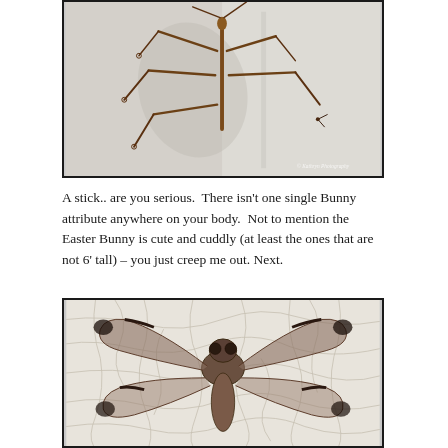[Figure (photo): Close-up photograph of a stick insect (phasmid) clinging to a white wall or door. The insect has long brown spindly legs and body spread out against a light gray/white background. A small copyright watermark reads 'Kathryn Photography' in the bottom right corner.]
A stick.. are you serious.  There isn't one single Bunny attribute anywhere on your body.  Not to mention the Easter Bunny is cute and cuddly (at least the ones that are not 6' tall) – you just creep me out. Next.
[Figure (photo): Close-up photograph of a dragonfly or similar large winged insect pinned flat against a cracked white painted surface. The insect has large spread wings with dark markings and a broad thorax, displayed symmetrically.]